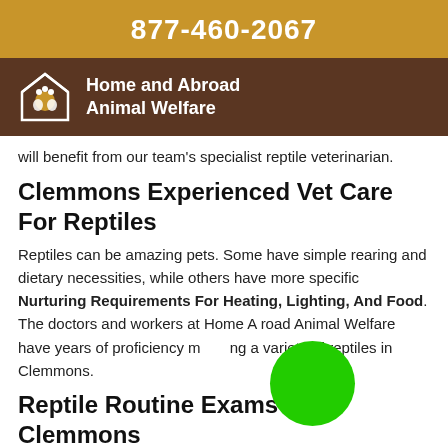877-460-2067
[Figure (logo): Home and Abroad Animal Welfare logo with house and paw icons on brown background]
will benefit from our team's specialist reptile veterinarian.
Clemmons Experienced Vet Care For Reptiles
Reptiles can be amazing pets. Some have simple rearing and dietary necessities, while others have more specific Nurturing Requirements For Heating, Lighting, And Food. The doctors and workers at Home And Abroad Animal Welfare have years of proficiency managing a variety of reptiles in Clemmons.
Reptile Routine Exams in Clemmons